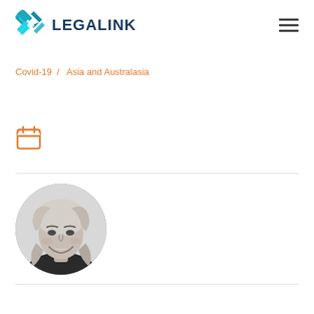[Figure (logo): Legalink logo with teal X-shaped icon and bold dark navy text reading LEGALINK]
Covid-19  /  Asia and Australasia
[Figure (illustration): Orange calendar icon]
[Figure (photo): Circular black-and-white portrait photo of a smiling blonde woman]